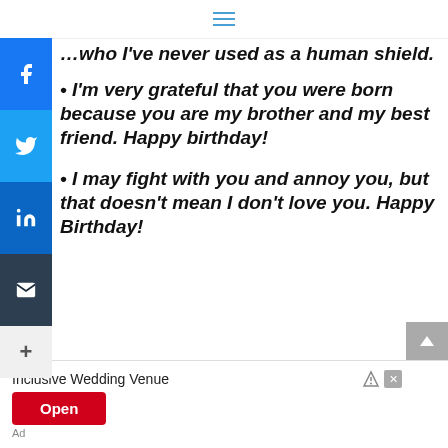≡
...who I've never used as a human shield.
• I'm very grateful that you were born because you are my brother and my best friend. Happy birthday!
• I may fight with you and annoy you, but that doesn't mean I don't love you. Happy Birthday!
[Figure (screenshot): Advertisement banner: Inclusive Wedding Venue with Open button]